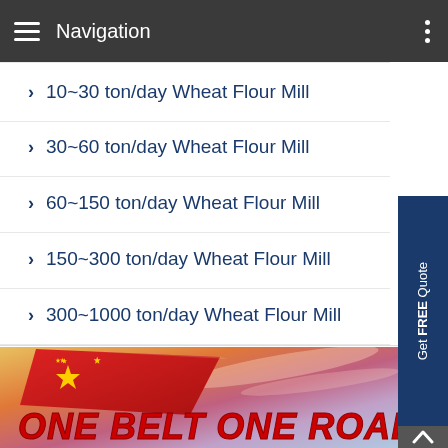Navigation
10~30 ton/day Wheat Flour Mill
30~60 ton/day Wheat Flour Mill
60~150 ton/day Wheat Flour Mill
150~300 ton/day Wheat Flour Mill
300~1000 ton/day Wheat Flour Mill
[Figure (illustration): Chinese flag waving with dramatic sky background and bold red italic text 'ONE BELT ONE ROAD']
ONE BELT ONE ROAD